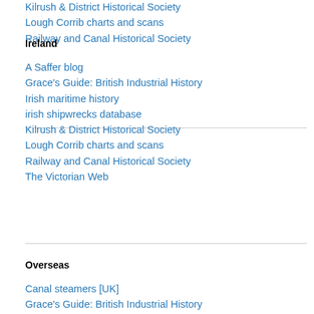Kilrush & District Historical Society
Lough Corrib charts and scans
Railway and Canal Historical Society
Ireland
A Saffer blog
Grace's Guide: British Industrial History
Irish maritime history
irish shipwrecks database
Kilrush & District Historical Society
Lough Corrib charts and scans
Railway and Canal Historical Society
The Victorian Web
Overseas
Canal steamers [UK]
Grace's Guide: British Industrial History